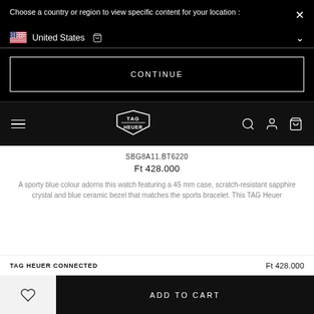Choose a country or region to view specific content for your location :
United States
CONTINUE
[Figure (logo): TAG Heuer logo in shield shape with TAG on top and HEUER on bottom]
SBG8A11.BT6220
Ft 428.000
A sporty blue colour adorns this watch featuring a 45 mm case, scratch-resistant sapphire crystal and blue ceramic bezel that matches the sports bracelet. This TAG Heuer
TAG HEUER CONNECTED
Ft 428.000
ADD TO CART